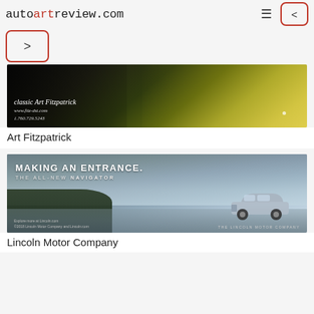autoartreview.com
[Figure (photo): Classic Art Fitzpatrick car illustration - green vintage car, with text: classic Art Fitzpatrick, www.fitz-dst.com, 1.760.729.5243]
Art Fitzpatrick
[Figure (photo): Lincoln Motor Company advertisement - The All-New Navigator SUV parked by water, with text: MAKING AN ENTRANCE. THE ALL-NEW NAVIGATOR. Explore more at Lincoln.com. The Lincoln Motor Company.]
Lincoln Motor Company